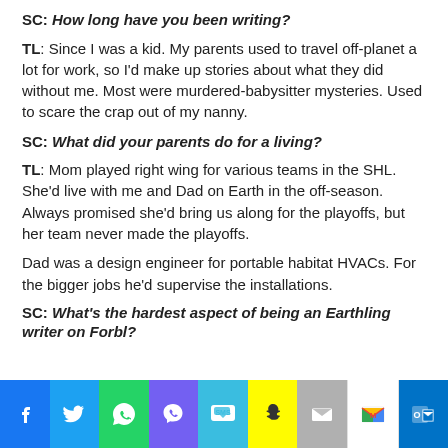SC: How long have you been writing?
TL: Since I was a kid. My parents used to travel off-planet a lot for work, so I'd make up stories about what they did without me. Most were murdered-babysitter mysteries. Used to scare the crap out of my nanny.
SC: What did your parents do for a living?
TL: Mom played right wing for various teams in the SHL. She'd live with me and Dad on Earth in the off-season. Always promised she'd bring us along for the playoffs, but her team never made the playoffs.
Dad was a design engineer for portable habitat HVACs. For the bigger jobs he'd supervise the installations.
SC: What's the hardest aspect of being an Earthling writer on Forbl?
[Figure (other): Social media sharing icon bar: Facebook, Twitter, WhatsApp, Viber, SMS, Snapchat, Email, Gmail, Outlook]